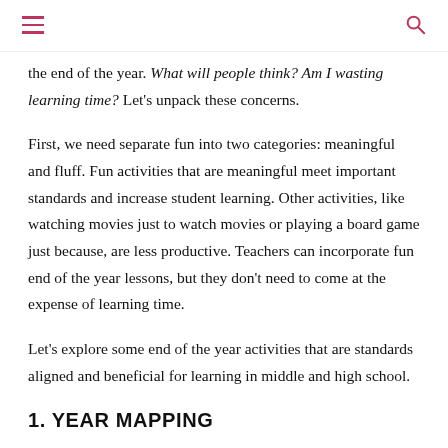[hamburger menu icon] [search icon]
the end of the year. What will people think? Am I wasting learning time? Let's unpack these concerns.
First, we need separate fun into two categories: meaningful and fluff. Fun activities that are meaningful meet important standards and increase student learning. Other activities, like watching movies just to watch movies or playing a board game just because, are less productive. Teachers can incorporate fun end of the year lessons, but they don't need to come at the expense of learning time.
Let's explore some end of the year activities that are standards aligned and beneficial for learning in middle and high school.
1. YEAR MAPPING